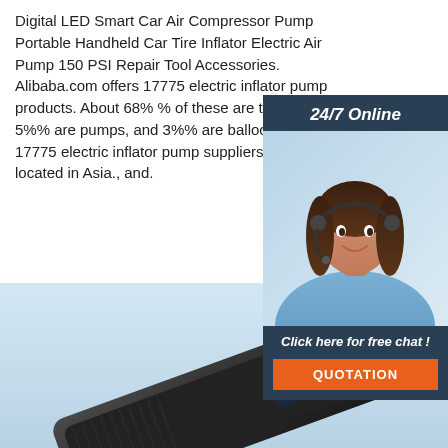Digital LED Smart Car Air Compressor Pump Portable Handheld Car Tire Inflator Electric Air Pump 150 PSI Repair Tool Accessories. Alibaba.com offers 17775 electric inflator pump products. About 68% % of these are tire inflators, 5%% are pumps, and 3%% are balloons. There are 17775 electric inflator pump suppliers, mainly located in Asia., and.
[Figure (photo): 24/7 Online chat widget with a female customer service agent wearing a headset, dark blue background, with 'Click here for free chat!' text and an orange QUOTATION button]
[Figure (photo): Product image of a black portable electric air compressor pump on a light blue background, with an orange TOP badge in the bottom right corner]